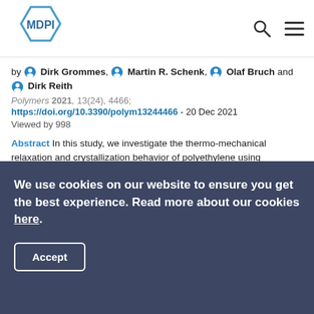MDPI
by Dirk Grommes, Martin R. Schenk, Olaf Bruch and Dirk Reith
Polymers 2021, 13(24), 4466;
https://doi.org/10.3390/polym13244466 - 20 Dec 2021
Viewed by 998
Abstract In this study, we investigate the thermo-mechanical relaxation and crystallization behavior of polyethylene using mesoscale molecular dynamics simulations. Our models specifically mimic constraints that occur in real-life polymer processing: After strong uniaxial stretching of the melt, we quench and release the polymer chains [...] Read more. (This article belongs to the Special Issue Coarse-Grained Models for Polymers)
We use cookies on our website to ensure you get the best experience. Read more about our cookies here.
Accept